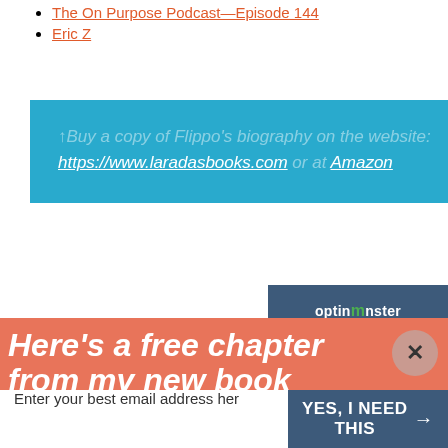The On Purpose Podcast—Episode 144
Eric Z
↑Buy a copy of Flippo's biography on the website: https://www.laradasbooks.com or at Amazon
[Figure (logo): OptinMonster logo badge in dark blue]
Here's a free chapter from my new book
Sign up for my newsletter and get the first chapter of my new book for free.
Enter your best email address her   YES, I NEED THIS →